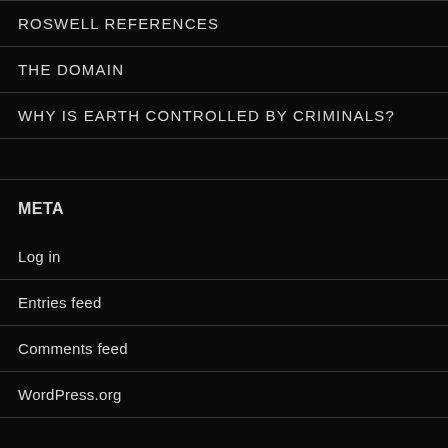ROSWELL REFERENCES
THE DOMAIN
WHY IS EARTH CONTROLLED BY CRIMINALS?
META
Log in
Entries feed
Comments feed
WordPress.org